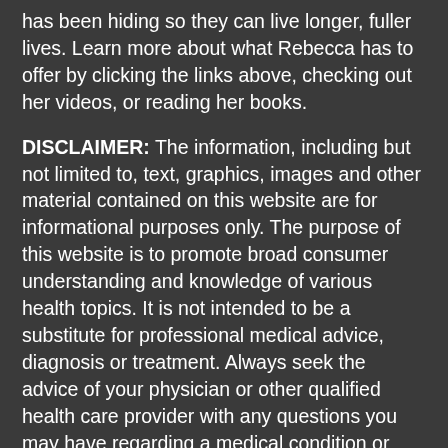has been hiding so they can live longer, fuller lives. Learn more about what Rebecca has to offer by clicking the links above, checking out her videos, or reading her books.
DISCLAIMER: The information, including but not limited to, text, graphics, images and other material contained on this website are for informational purposes only. The purpose of this website is to promote broad consumer understanding and knowledge of various health topics. It is not intended to be a substitute for professional medical advice, diagnosis or treatment. Always seek the advice of your physician or other qualified health care provider with any questions you may have regarding a medical condition or treatment and before undertaking a new health care regimen, and never